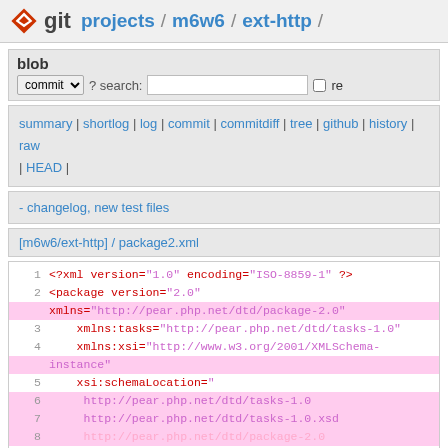git projects / m6w6 / ext-http /
blob commit ? search: re
summary | shortlog | log | commit | commitdiff | tree | github | history | raw | HEAD |
- changelog, new test files
[m6w6/ext-http] / package2.xml
1 <?xml version="1.0" encoding="ISO-8859-1" ?>
2 <package version="2.0"
xmlns="http://pear.php.net/dtd/package-2.0"
3    xmlns:tasks="http://pear.php.net/dtd/tasks-1.0"
4    xmlns:xsi="http://www.w3.org/2001/XMLSchema-instance"
5    xsi:schemaLocation="
6     http://pear.php.net/dtd/tasks-1.0
7     http://pear.php.net/dtd/tasks-1.0.xsd